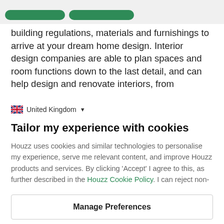building regulations, materials and furnishings to arrive at your dream home design. Interior design companies are able to plan spaces and room functions down to the last detail, and can help design and renovate interiors, from
🇬🇧 United Kingdom ▾
Tailor my experience with cookies
Houzz uses cookies and similar technologies to personalise my experience, serve me relevant content, and improve Houzz products and services. By clicking 'Accept' I agree to this, as further described in the Houzz Cookie Policy. I can reject non-
Manage Preferences
Accept